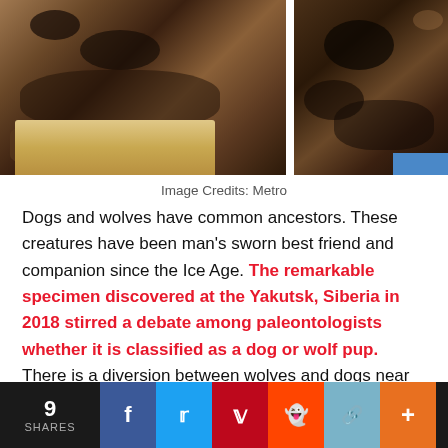[Figure (photo): Two photos side by side of a preserved prehistoric puppy specimen, dark brown fur, lying on surfaces. Left photo shows the body on a light colored surface; right photo shows the head/face closeup on a blue surface.]
Image Credits: Metro
Dogs and wolves have common ancestors. These creatures have been man's sworn best friend and companion since the Ice Age. The remarkable specimen discovered at the Yakutsk, Siberia in 2018 stirred a debate among paleontologists whether it is classified as a dog or wolf pup. There is a diversion between wolves and dogs near the end of the Ice Age 40,000-30,000 years ago. The specimen is so perfectly preserved that the milk teeth, furs, and paws of the pup are still intact.
9 SHARES  [Facebook] [Twitter] [Pinterest] [Reddit] [Link] [Plus]